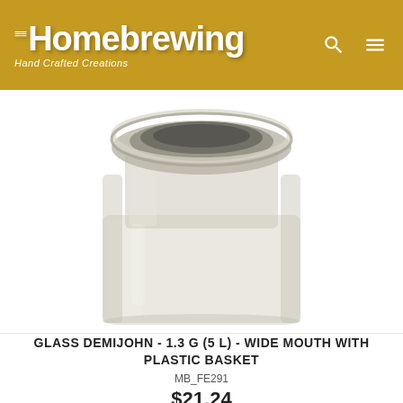Homebrewin — Hand Crafted Creations
[Figure (photo): Close-up photo of a glass demijohn jar with wide mouth opening, showing the top portion including the thick glass rim and the wide cylindrical body. The jar is transparent/clear glass with a slightly frosted appearance.]
GLASS DEMIJOHN - 1.3 G (5 L) - WIDE MOUTH WITH PLASTIC BASKET
MB_FE291
$21.24